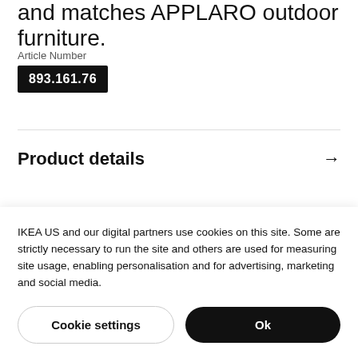and matches APPLARO outdoor furniture.
Article Number
893.161.76
Product details
Measurements
IKEA US and our digital partners use cookies on this site. Some are strictly necessary to run the site and others are used for measuring site usage, enabling personalisation and for advertising, marketing and social media.